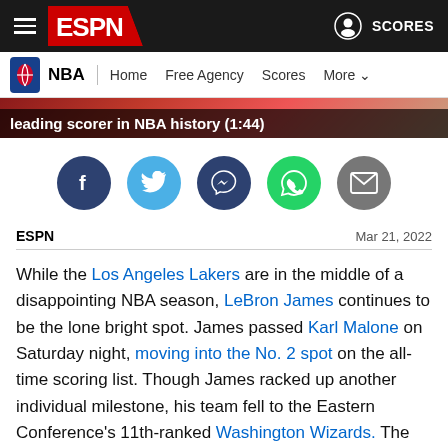ESPN — SCORES
NBA | Home  Free Agency  Scores  More
leading scorer in NBA history (1:44)
[Figure (infographic): Social share buttons: Facebook, Twitter, Messenger, WhatsApp, Email]
ESPN  Mar 21, 2022
While the Los Angeles Lakers are in the middle of a disappointing NBA season, LeBron James continues to be the lone bright spot. James passed Karl Malone on Saturday night, moving into the No. 2 spot on the all-time scoring list. Though James racked up another individual milestone, his team fell to the Eastern Conference's 11th-ranked Washington Wizards. The Lakers are running out of time to climb the Western Conference standings. At No. 10, they are five games back of